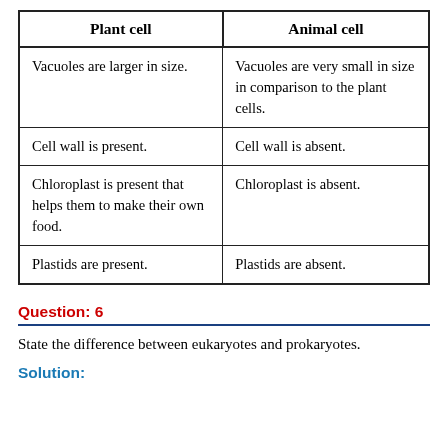| Plant cell | Animal cell |
| --- | --- |
| Vacuoles are larger in size. | Vacuoles are very small in size in comparison to the plant cells. |
| Cell wall is present. | Cell wall is absent. |
| Chloroplast is present that helps them to make their own food. | Chloroplast is absent. |
| Plastids are present. | Plastids are absent. |
Question: 6
State the difference between eukaryotes and prokaryotes.
Solution: